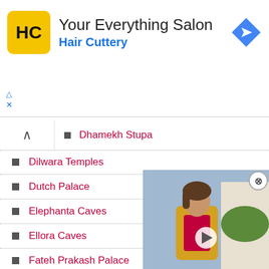[Figure (logo): Hair Cuttery advertisement banner with yellow HC logo, title 'Your Everything Salon', subtitle 'Hair Cuttery', and a blue navigation arrow icon]
Dhamekh Stupa
Dilwara Temples
Dutch Palace
Elephanta Caves
Ellora Caves
Fateh Prakash Palace
Feroz Shah Kotla
Fort St George
Gangaikondacholapuram
Gateway of India
Gingee Fort
[Figure (screenshot): Rolling Stone magazine video overlay with a person in yellow jacket, play button, and close button]